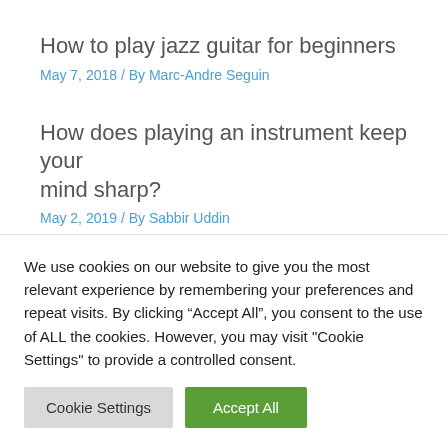How to play jazz guitar for beginners
May 7, 2018 / By Marc-Andre Seguin
How does playing an instrument keep your mind sharp?
May 2, 2019 / By Sabbir Uddin
Top Songs You Should Play On Your Guit...
We use cookies on our website to give you the most relevant experience by remembering your preferences and repeat visits. By clicking “Accept All”, you consent to the use of ALL the cookies. However, you may visit "Cookie Settings" to provide a controlled consent.